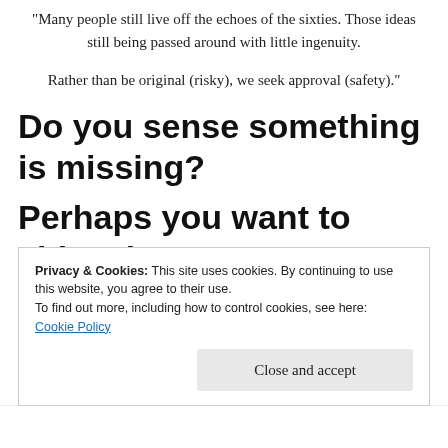“Many people still live off the echoes of the sixties. Those ideas still being passed around with little ingenuity.
Rather than be original (risky), we seek approval (safety).”
Do you sense something is missing?
Perhaps you want to shine, be
Privacy & Cookies: This site uses cookies. By continuing to use this website, you agree to their use.
To find out more, including how to control cookies, see here:
Cookie Policy
Close and accept